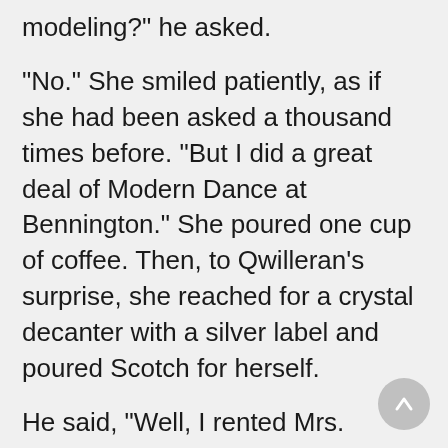modeling?" he asked.
"No." She smiled patiently, as if she had been asked a thousand times before. "But I did a great deal of Modern Dance at Bennington." She poured one cup of coffee. Then, to Qwilleran's surprise, she reached for a crystal decanter with a silver label and poured Scotch for herself.
He said, "Well, I rented Mrs. Cobb's apartment this afternoon and moved in immediately — with my two room — mates, a pair of Siamese cats." "Really? You hardly look like a man who would keep cats." Qwilleran eyed her defensively. "They were orphans. I adopted them — first the male and then, some months later, the female." "I'd like to have a cat." she